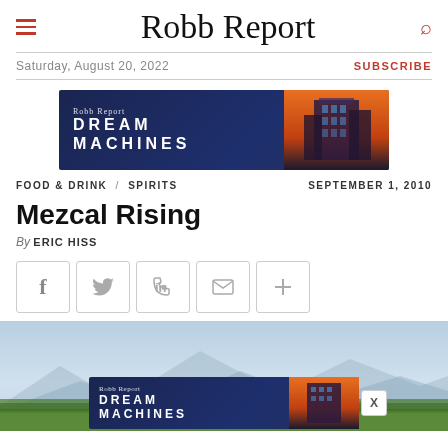Robb Report
Saturday, August 20, 2022
SUBSCRIBE
[Figure (illustration): Robb Report Dream Machines advertisement banner with building/casino imagery at night]
FOOD & DRINK / SPIRITS   SEPTEMBER 1, 2010
Mezcal Rising
By ERIC HISS
[Figure (infographic): Social share buttons: Facebook, Twitter, LinkedIn, Email, More]
[Figure (photo): Hero image of agave field with mountains in background and Robb Report Dream Machines ad overlay]
[Figure (illustration): Robb Report Dream Machines advertisement banner repeated at bottom with X close button]